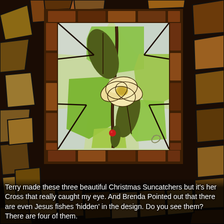[Figure (photo): Background of colorful mosaic/stained glass tile pieces in warm brown, orange, and earth tones arranged irregularly]
[Figure (photo): Stained glass panel with a magnolia flower design in cream/ivory petals with yellow center, surrounded by brown-green leaves and a green background. The panel has a brown/tortoiseshell decorative border. A red berry or bead is visible near the bottom center, and the background sections are frosted white/grey glass.]
Terry made these three beautiful Christmas Suncatchers but it's her Cross that really caught my eye.  And Brenda Pointed out that there are even Jesus fishes 'hidden' in the design. Do you see them?  There are four of them.